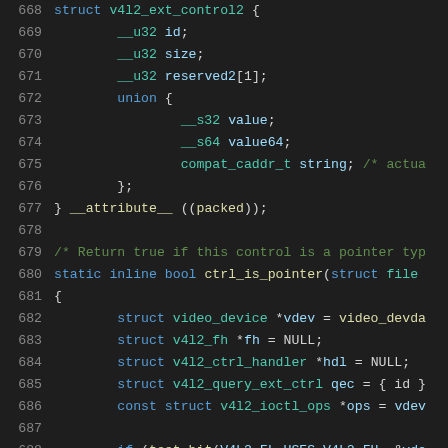[Figure (screenshot): Source code listing lines 668-689 showing a C struct definition and static inline function, displayed in a dark-themed code editor with syntax highlighting]